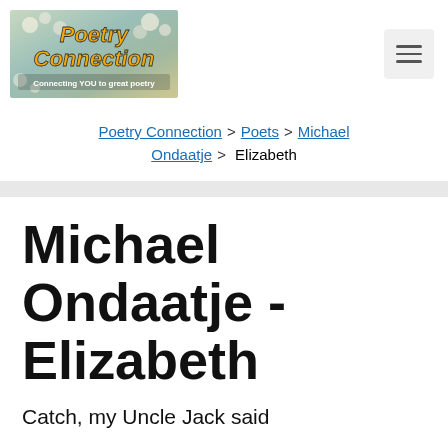[Figure (logo): Poetry Connection website logo with floral background, orange italic text reading 'Poetry Connection' and tagline 'Connecting YOU to great poetry']
Poetry Connection > Poets > Michael Ondaatje > Elizabeth
Michael Ondaatje - Elizabeth
Catch, my Uncle Jack said